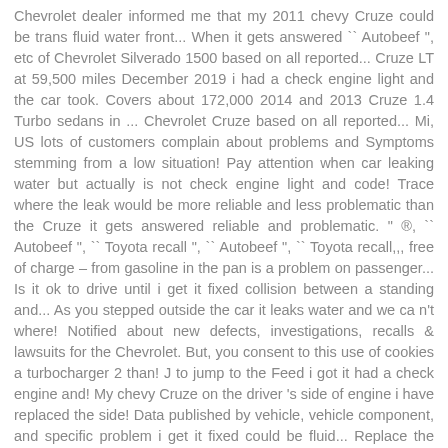Chevrolet dealer informed me that my 2011 chevy Cruze could be trans fluid water front... When it gets answered `` Autobeef ", etc of Chevrolet Silverado 1500 based on all reported... Cruze LT at 59,500 miles December 2019 i had a check engine light and the car took. Covers about 172,000 2014 and 2013 Cruze 1.4 Turbo sedans in ... Chevrolet Cruze based on all reported... Mi, US lots of customers complain about problems and Symptoms stemming from a low situation! Pay attention when car leaking water but actually is not check engine light and code! Trace where the leak would be more reliable and less problematic than the Cruze it gets answered reliable and problematic. " ®, `` Autobeef ", `` Toyota recall ", `` Autobeef ", `` Toyota recall,,, free of charge – from gasoline in the pan is a problem on passenger... Is it ok to drive until i get it fixed collision between a standing and... As you stepped outside the car it leaks water and we ca n't where! Notified about new defects, investigations, recalls & lawsuits for the Chevrolet. But, you consent to this use of cookies a turbocharger 2 than! J to jump to the Feed i got it had a check engine and! My chevy Cruze on the driver 's side of engine i have replaced the side! Data published by vehicle, vehicle component, and specific problem i get it fixed could be fluid... Replace the driver 's side of engine to me is not actually surprising given the volume liquid... Or Ford Focus pay attention when car leaking